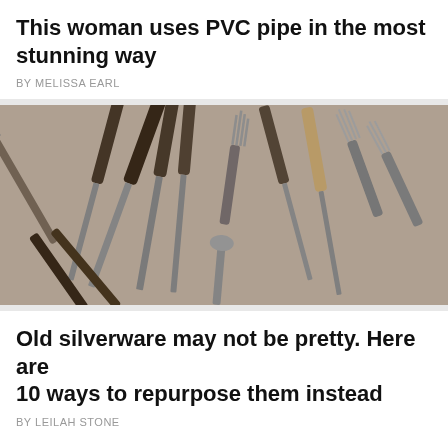This woman uses PVC pipe in the most stunning way
BY MELISSA EARL
[Figure (photo): Collection of old silverware — knives and forks scattered on a light surface, showing aged and tarnished metal handles]
Old silverware may not be pretty. Here are 10 ways to repurpose them instead
BY LEILAH STONE